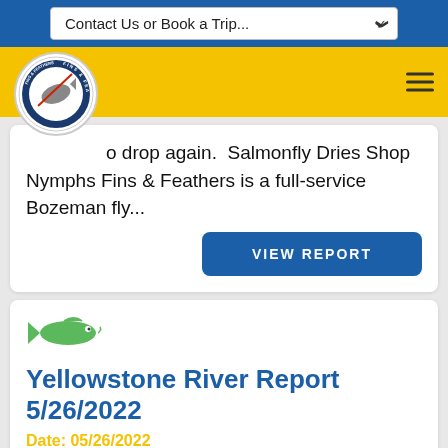Contact Us or Book a Trip...
[Figure (logo): Fins & Feathers fly shop circular logo with fish and fishing imagery]
...o drop again.  Salmonfly Dries Shop Nymphs Fins & Feathers is a full-service Bozeman fly...
VIEW REPORT
[Figure (illustration): Green fish silhouette icon]
Yellowstone River Report 5/26/2022
Date: 05/26/2022
The Yellowstone is jumping up and un-